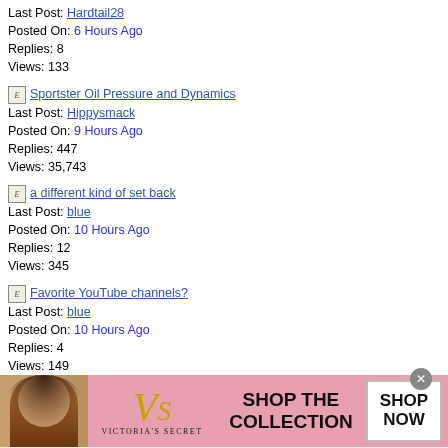Last Post: Hardtail28
Posted On: 6 Hours Ago
Replies: 8
Views: 133
Sportster Oil Pressure and Dynamics
Last Post: Hippysmack
Posted On: 9 Hours Ago
Replies: 447
Views: 35,743
a different kind of set back
Last Post: blue
Posted On: 10 Hours Ago
Replies: 12
Views: 345
Favorite YouTube channels?
Last Post: blue
Posted On: 10 Hours Ago
Replies: 4
Views: 149
Roads I'd like to ride.
Last Post: Stairman
Posted On: 11 Hours Ago
Views: 3,874
[Figure (photo): DK High Performance Custom Products advertisement banner with logo, 1275 Kits and 1250 Kits badges, checkered flag graphic, text POUND YOUR C... with ... HAMMER T...]
[Figure (photo): Victoria's Secret advertisement banner with model photo, VS logo, text SHOP THE COLLECTION, SHOP NOW button, close X button, infolinks badge]